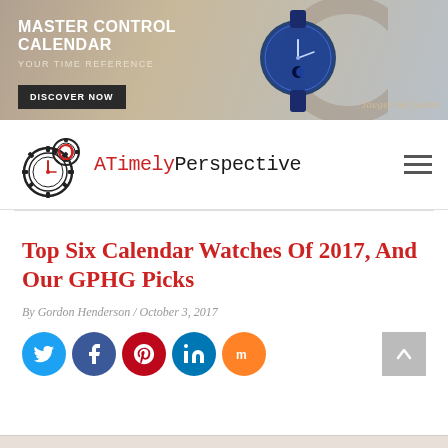[Figure (photo): Jaeger-LeCoultre Master Control Calendar advertisement banner with watch image, tagline 'YOUR TIME REFERENCE', and 'DISCOVER NOW' button]
[Figure (logo): ATimelyPerspective website logo with gear/clock icon]
ATimelyPerspective
Top Six Calendar Watches Of 2017, And Our GPHG Picks
By Gordon Henderson / October 3, 2017
[Figure (infographic): Social sharing icons: Twitter, Facebook, Pinterest, LinkedIn, Mix]